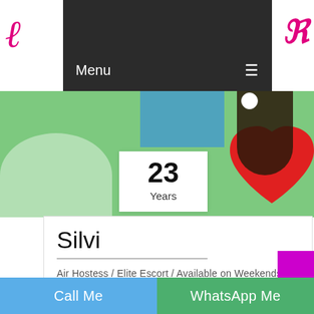[Figure (screenshot): Website navigation bar with dark background showing Menu label and hamburger icon, with pink cursive logo letters on white sides]
[Figure (photo): Background photo showing a woman with dark hair, white flower, and red heart shape against green background]
23
Years
Silvi
Air Hostess / Elite Escort / Available on Weekends only
Gumla Escorts Services
Call Me
WhatsApp Me